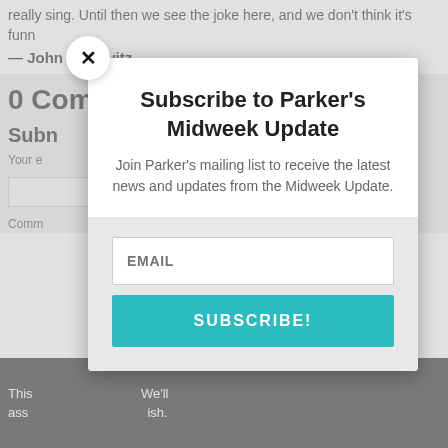really sing. Until then we see the joke here, and we don't think it's funn
— John Pavlovitz
0 Comments
Subn
Your e... arked *
Comm
[Figure (screenshot): Subscribe modal popup with close button (x), title 'Subscribe to Parker's Midweek Update', subtitle text, email input field, and teal SUBSCRIBE! button]
This... We'll ass... ish.